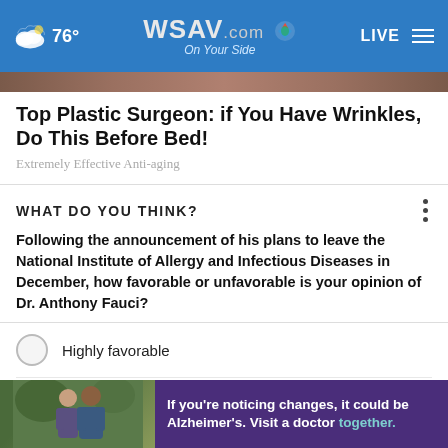WSAV.com On Your Side — 76° LIVE
Top Plastic Surgeon: if You Have Wrinkles, Do This Before Bed!
Extremely Effective Anti-aging
WHAT DO YOU THINK?
Following the announcement of his plans to leave the National Institute of Allergy and Infectious Diseases in December, how favorable or unfavorable is your opinion of Dr. Anthony Fauci?
Highly favorable
Somewhat favorable
S [partially visible]
H [partially visible]
If you're noticing changes, it could be Alzheimer's. Visit a doctor together.